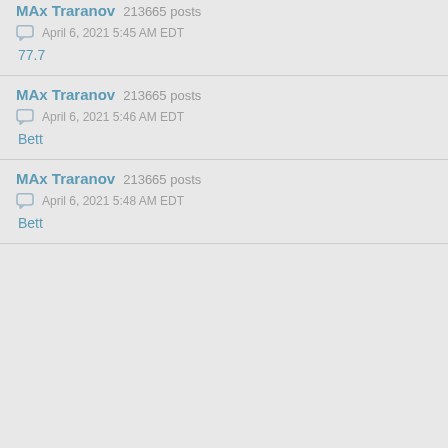MAx Traranov 213665 posts
April 6, 2021 5:45 AM EDT
77.7
MAx Traranov 213665 posts
April 6, 2021 5:46 AM EDT
Bett
MAx Traranov 213665 posts
April 6, 2021 5:48 AM EDT
Bett